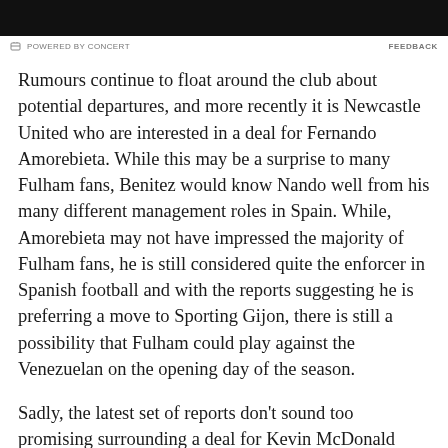[Figure (other): Black banner/advertisement bar at top of page]
POWERED BY CONCERT   FEEDBACK
Rumours continue to float around the club about potential departures, and more recently it is Newcastle United who are interested in a deal for Fernando Amorebieta. While this may be a surprise to many Fulham fans, Benitez would know Nando well from his many different management roles in Spain. While, Amorebieta may not have impressed the majority of Fulham fans, he is still considered quite the enforcer in Spanish football and with the reports suggesting he is preferring a move to Sporting Gijon, there is still a possibility that Fulham could play against the Venezuelan on the opening day of the season.
Sadly, the latest set of reports don't sound too promising surrounding a deal for Kevin McDonald from